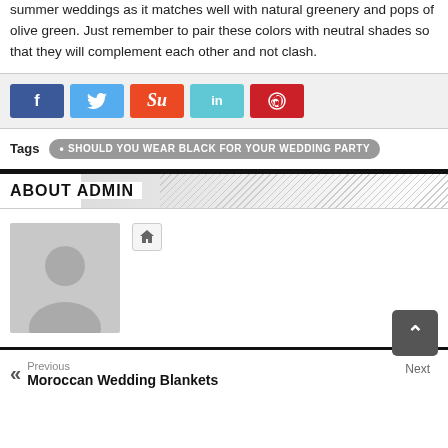summer weddings as it matches well with natural greenery and pops of olive green. Just remember to pair these colors with neutral shades so that they will complement each other and not clash.
[Figure (other): Social sharing buttons: Facebook (blue), Twitter (light blue), StumbleUpon (orange-red), LinkedIn (teal), Pinterest (red)]
Tags  • SHOULD YOU WEAR BLACK FOR YOUR WEDDING PARTY
ABOUT ADMIN
[Figure (photo): Default avatar placeholder image (gray silhouette of a person) with a small home icon button to the right]
Previous  Moroccan Wedding Blankets
Next